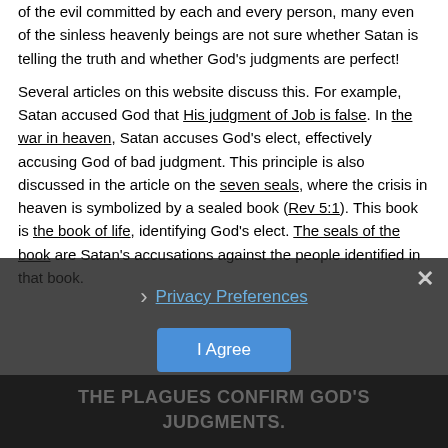of the evil committed by each and every person, many even of the sinless heavenly beings are not sure whether Satan is telling the truth and whether God's judgments are perfect!
Several articles on this website discuss this. For example, Satan accused God that His judgment of Job is false. In the war in heaven, Satan accuses God's elect, effectively accusing God of bad judgment. This principle is also discussed in the article on the seven seals, where the crisis in heaven is symbolized by a sealed book (Rev 5:1). This book is the book of life, identifying God's elect. The seals of the book are Satan's accusations against the people identified in that book.
Privacy Preferences
I Agree
THE PLAGUES CONFIRM GOD'S JUDGMENTS.